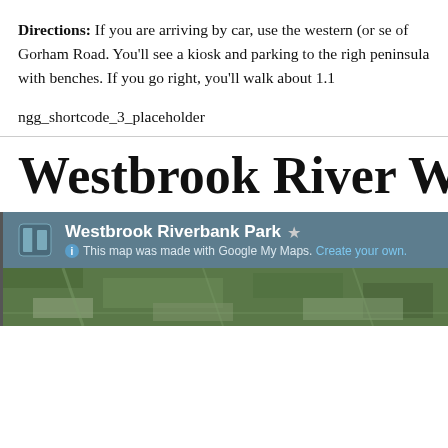Directions: If you are arriving by car, use the western (or se of Gorham Road. You'll see a kiosk and parking to the righ peninsula with benches. If you go right, you'll walk about 1.1
ngg_shortcode_3_placeholder
Westbrook River Walk, We
[Figure (map): Google My Maps embed showing Westbrook Riverbank Park aerial satellite view with a header panel showing the map title, star icon, and 'This map was made with Google My Maps. Create your own.' subtitle]